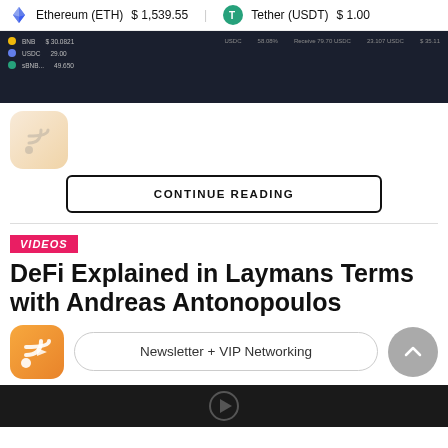Ethereum (ETH) $1,539.55  Tether (USDT) $1.00
[Figure (screenshot): Dark-themed crypto exchange interface showing BNB, USDC, and other token rows with prices and percentage changes]
[Figure (logo): Small RSS/crypto feed icon with light beige background, rounded corners]
CONTINUE READING
VIDEOS
DeFi Explained in Laymans Terms with Andreas Antonopoulos
[Figure (logo): Orange RSS/crypto feed icon with Ethereum diamond logo]
Newsletter + VIP Networking
[Figure (screenshot): Dark video thumbnail strip at bottom of page]